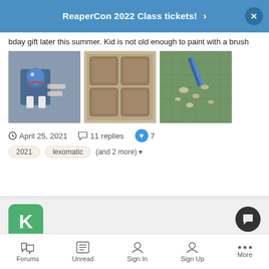ReaperCon 2022 Class tickets!
bday gift later this summer. Kid is not old enough to paint with a brush
[Figure (photo): Three photos of miniature figures and painting supplies on a green cutting mat]
April 25, 2021   11 replies   7
2021   lexomatic   (and 2 more)
[Figure (other): Green square avatar with letter K]
77651: Sir Vigintor, d20
Kikkenass posted a topic in Show Off: Painting
For your consideration I present Sir Vigintor, d20. This particular
Forums   Unread   Sign In   Sign Up   More